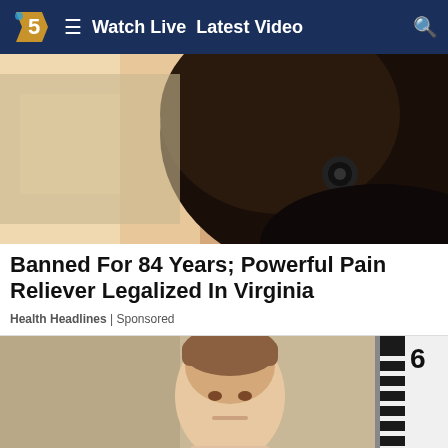Watch Live  Latest Video
[Figure (photo): Close-up photo of a person's head/hair from behind, dark background]
Banned For 84 Years; Powerful Pain Reliever Legalized In Virginia
Health Headlines | Sponsored
[Figure (photo): Mugshot of a young man in front of a height measurement chart showing 6 feet and 5 feet markers]
[Figure (screenshot): Advertisement banner: Build Nuclear Now - Clean. Secure. Homegrown. with Open button]